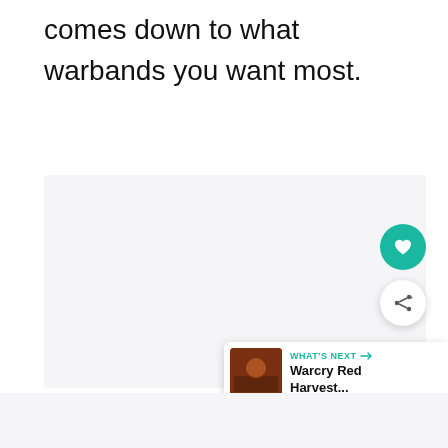comes down to what warbands you want most.
[Figure (other): Large light gray placeholder image area]
[Figure (other): Teal circular heart/favorite button (FAB)]
[Figure (other): White circular share button (FAB) with share icon]
[Figure (other): WHAT'S NEXT card showing Warcry Red Harvest... with thumbnail]